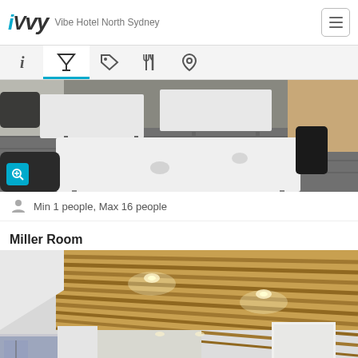iVvy — Vibe Hotel North Sydney
[Figure (screenshot): Navigation tabs: info, cocktail glass (active with blue underline), tag, fork and knife, map pin]
[Figure (photo): Conference room with white tables arranged in rows, mesh-back chairs, patterned carpet]
Min 1 people, Max 16 people
Miller Room
[Figure (photo): Miller Room interior showing slatted wooden ceiling with recessed spotlights, white walls, large windows]